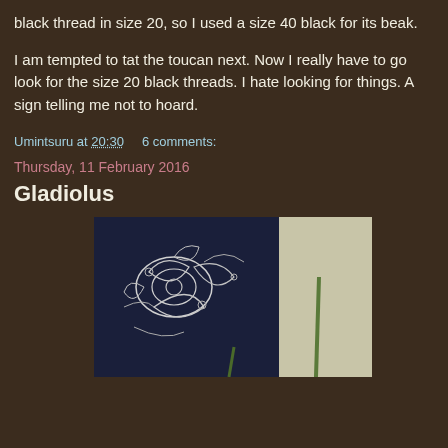black thread in size 20, so I used a size 40 black for its beak.
I am tempted to tat the toucan next. Now I really have to go look for the size 20 black threads. I hate looking for things. A sign telling me not to hoard.
Umintsuru at 20:30    6 comments:
Thursday, 11 February 2016
Gladiolus
[Figure (photo): A photo of tatted lace work showing floral/leaf designs in white thread on a dark navy background, with a lighter beige/cream area on the right side and green elements visible.]